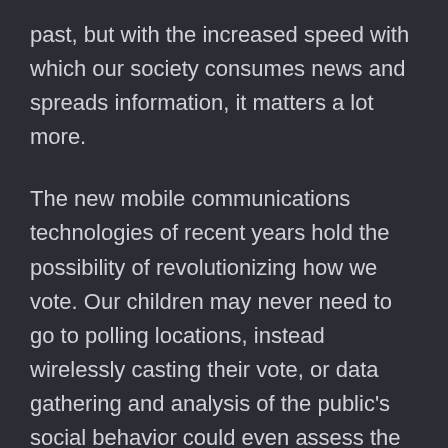past, but with the increased speed with which our society consumes news and spreads information, it matters a lot more.
The new mobile communications technologies of recent years hold the possibility of revolutionizing how we vote. Our children may never need to go to polling locations, instead wirelessly casting their vote, or data gathering and analysis of the public's social behavior could even assess the will of the public on an ongoing basis. However, as the hacking scandals of recent years have shown the dire need for advancements in the security of our mobile technology, voting at polling places, in